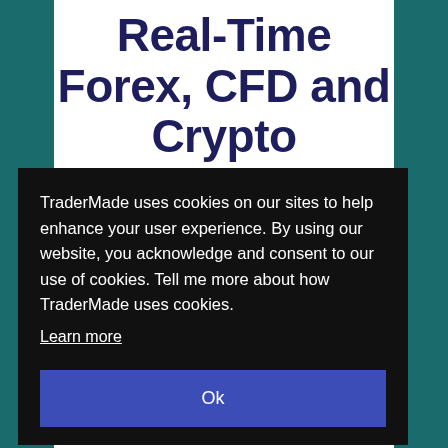Real-Time Forex, CFD and Crypto
WebSocket
With Or
TraderMade uses cookies on our sites to help enhance your user experience. By using our website, you acknowledge and consent to our use of cookies. Tell me more about how TraderMade uses cookies.
Learn more
Ok
021 at 09:58AM
In this tutorial, you will learn how